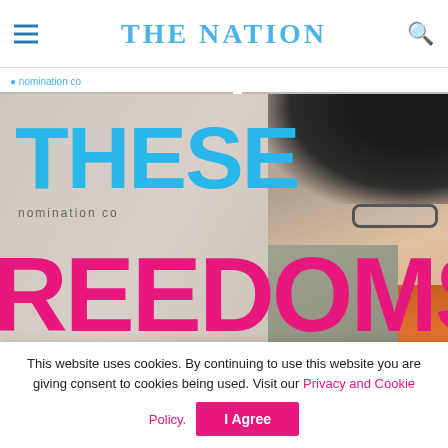THE NATION
nomination co
[Figure (photo): Book cover or magazine image with large bold text 'THESE' in blue and 'REEDOMS' in pink/magenta, with a woman wearing glasses on the right side]
This website uses cookies. By continuing to use this website you are giving consent to cookies being used. Visit our Privacy and Cookie Policy. I Agree